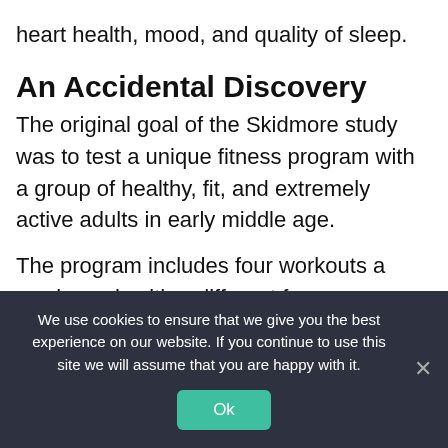heart health, mood, and quality of sleep.
An Accidental Discovery
The original goal of the Skidmore study was to test a unique fitness program with a group of healthy, fit, and extremely active adults in early middle age.
The program includes four workouts a week, each with a different focus: strength, steady-pace endurance, high-intensity intervals, and flexibility
We use cookies to ensure that we give you the best experience on our website. If you continue to use this site we will assume that you are happy with it.